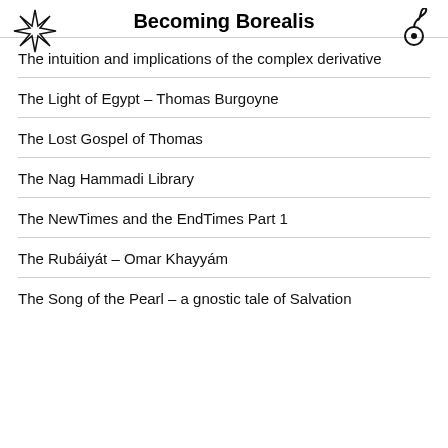Becoming Borealis
The intuition and implications of the complex derivative
The Light of Egypt – Thomas Burgoyne
The Lost Gospel of Thomas
The Nag Hammadi Library
The NewTimes and the EndTimes Part 1
The Rubáiyát – Omar Khayyám
The Song of the Pearl – a gnostic tale of Salvation